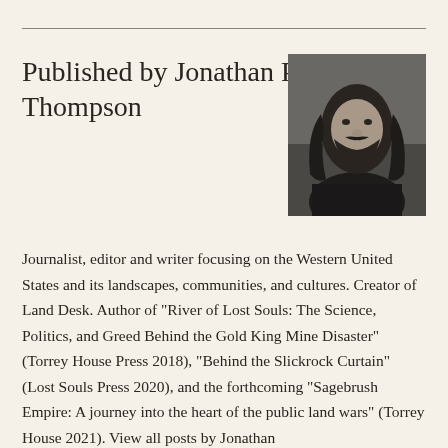Published by Jonathan P. Thompson
[Figure (photo): Black and white portrait photograph of Jonathan P. Thompson, a man with long dark hair and a beard, facing slightly to the side]
Journalist, editor and writer focusing on the Western United States and its landscapes, communities, and cultures. Creator of Land Desk. Author of "River of Lost Souls: The Science, Politics, and Greed Behind the Gold King Mine Disaster" (Torrey House Press 2018), "Behind the Slickrock Curtain" (Lost Souls Press 2020), and the forthcoming "Sagebrush Empire: A journey into the heart of the public land wars" (Torrey House 2021). View all posts by Jonathan